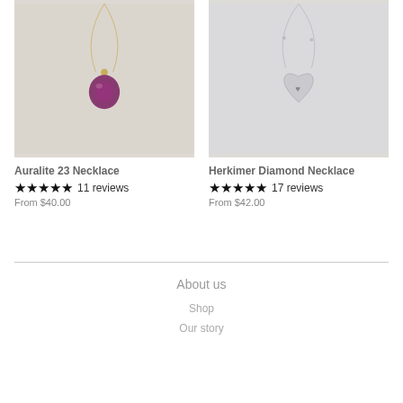[Figure (photo): Photo of Auralite 23 Necklace with gold chain and purple/dark red gemstone pendant on cream fabric background]
Auralite 23 Necklace
★★★★★ 11 reviews
From $40.00
[Figure (photo): Photo of Herkimer Diamond Necklace with silver chain and small heart-shaped pendant on cream fabric background]
Herkimer Diamond Necklace
★★★★★ 17 reviews
From $42.00
About us
Shop
Our story